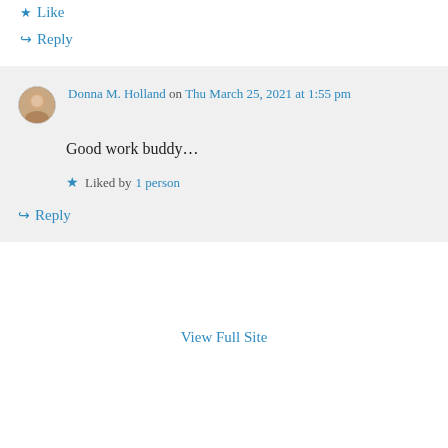★ Like
↪ Reply
Donna M. Holland on Thu March 25, 2021 at 1:55 pm
Good work buddy…
★ Liked by 1 person
↪ Reply
View Full Site